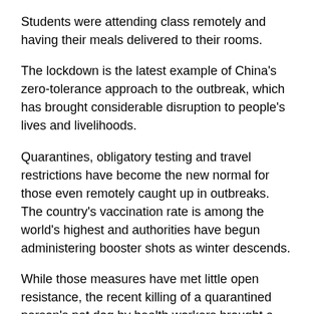Students were attending class remotely and having their meals delivered to their rooms.
The lockdown is the latest example of China's zero-tolerance approach to the outbreak, which has brought considerable disruption to people's lives and livelihoods.
Quarantines, obligatory testing and travel restrictions have become the new normal for those even remotely caught up in outbreaks. The country's vaccination rate is among the world's highest and authorities have begun administering booster shots as winter descends.
While those measures have met little open resistance, the recent killing of a quarantined person's pet dog by health workers brought a wave of complaints online. The incident in the central city of Shangrao prompted local authorities to issue a statement saying the pet owner and health workers had “reached an understanding.”
Following the incident, the China Small Animal Protection